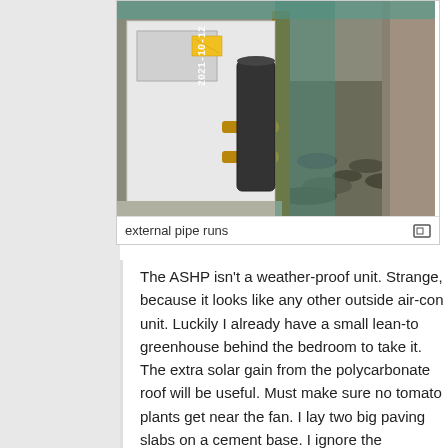[Figure (photo): Photo of external pipe runs from an air source heat pump (ASHP) unit installed outdoors in a narrow passage between walls. The unit is white/grey with brass fittings and pipes. Date stamp reads 2021-10-12.]
external pipe runs
The ASHP isn't a weather-proof unit. Strange, because it looks like any other outside air-con unit. Luckily I already have a small lean-to greenhouse behind the bedroom to take it. The extra solar gain from the polycarbonate roof will be useful. Must make sure no tomato plants get near the fan. I lay two big paving slabs on a cement base. I ignore the